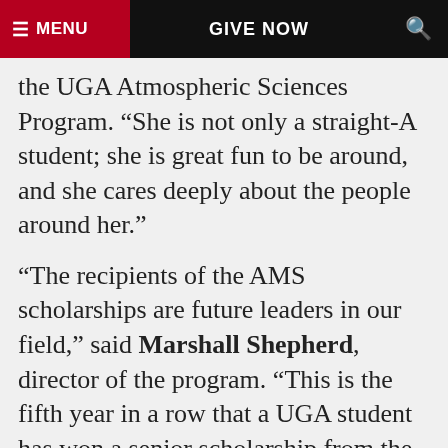≡ MENU   GIVE NOW   🔍
the UGA Atmospheric Sciences Program. “She is not only a straight-A student; she is great fun to be around, and she cares deeply about the people around her.”
“The recipients of the AMS scholarships are future leaders in our field,” said Marshall Shepherd, director of the program. “This is the fifth year in a row that a UGA student has won a senior scholarship from the AMS—of the big-name schools in our field, only the University of Oklahoma